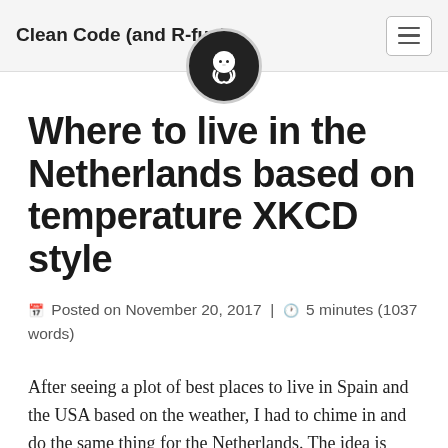Clean Code (and R-fun)
[Figure (logo): GitHub Octocat logo in a dark circular badge]
Where to live in the Netherlands based on temperature XKCD style
Posted on November 20, 2017 | 5 minutes (1037 words)
After seeing a plot of best places to live in Spain and the USA based on the weather, I had to chime in and do the same thing for the Netherlands. The idea is simple, determine where you want to live based on your